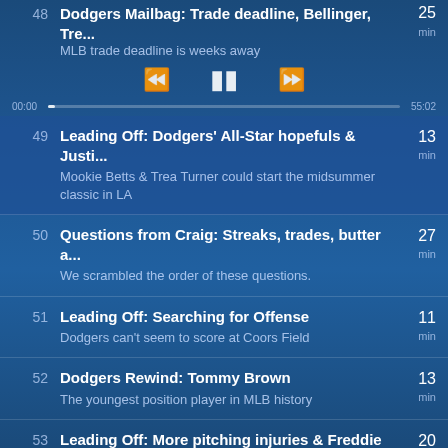48 Dodgers Mailbag: Trade deadline, Bellinger, Tre... MLB trade deadline is weeks away 25 min
[Figure (screenshot): Podcast player controls: rewind, pause, fast-forward buttons]
[Figure (screenshot): Progress bar showing 00:00 to 55:02]
49 Leading Off: Dodgers' All-Star hopefuls & Justi... Mookie Betts & Trea Turner could start the midsummer classic in LA 13 min
50 Questions from Craig: Streaks, trades, butter a... We scrambled the order of these questions. 27 min
51 Leading Off: Searching for Offense Dodgers can't seem to score at Coors Field 11 min
52 Dodgers Rewind: Tommy Brown The youngest position player in MLB history 13 min
53 Leading Off: More pitching injuries & Freddie F... Andrew Heaney and Daniel Hudson land on the injured list 20 min
54 Questions from Craig: June Edition 47